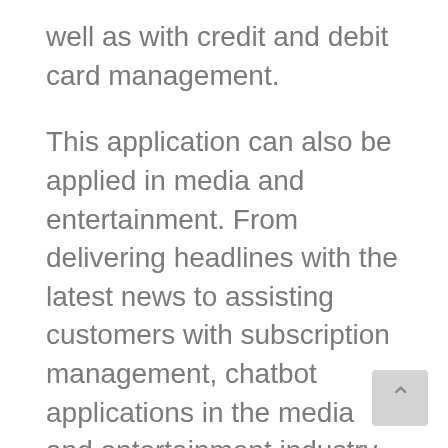well as with credit and debit card management.
This application can also be applied in media and entertainment. From delivering headlines with the latest news to assisting customers with subscription management, chatbot applications in the media and entertainment industry play a very relevant role today, so much so that they have transformed the way we consume content.
On the other hand, chatbots can help students solve problems related to a book or material loans, access to facilities, tuition and fees, or virtual campus technology. One of their most valued applications is related to alert services which warn of changes or updates in student